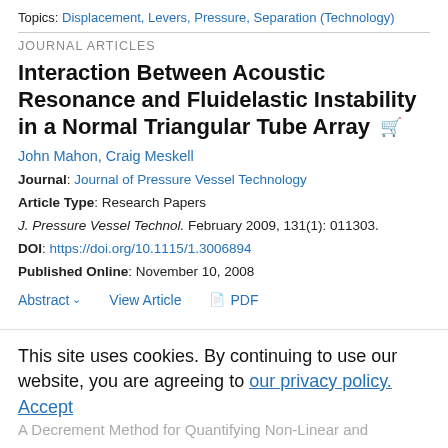Topics: Displacement, Levers, Pressure, Separation (Technology)
JOURNAL ARTICLES
Interaction Between Acoustic Resonance and Fluidelastic Instability in a Normal Triangular Tube Array
John Mahon, Craig Meskell
Journal: Journal of Pressure Vessel Technology
Article Type: Research Papers
J. Pressure Vessel Technol. February 2009, 131(1): 011303.
DOI: https://doi.org/10.1115/1.3006894
Published Online: November 10, 2008
Abstract  View Article  PDF
This site uses cookies. By continuing to use our website, you are agreeing to our privacy policy. Accept
A Decrement Method for Quantifying Non-Linear and